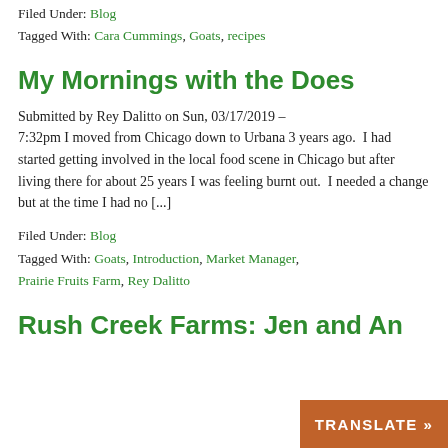Filed Under: Blog
Tagged With: Cara Cummings, Goats, recipes
My Mornings with the Does
Submitted by Rey Dalitto on Sun, 03/17/2019 – 7:32pm I moved from Chicago down to Urbana 3 years ago.  I had started getting involved in the local food scene in Chicago but after living there for about 25 years I was feeling burnt out.  I needed a change but at the time I had no [...]
Filed Under: Blog
Tagged With: Goats, Introduction, Market Manager, Prairie Fruits Farm, Rey Dalitto
Rush Creek Farms: Jen and An…
TRANSLATE »